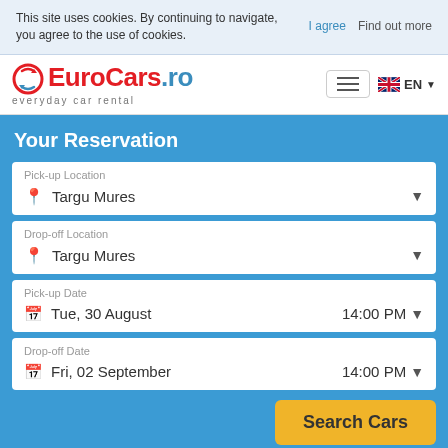This site uses cookies. By continuing to navigate, you agree to the use of cookies.  I agree  Find out more
[Figure (logo): EuroCars.ro logo with red and blue text and a circular arrow icon. Tagline: everyday car rental]
Your Reservation
Pick-up Location
Targu Mures
Drop-off Location
Targu Mures
Pick-up Date
Tue, 30 August
14:00 PM
Drop-off Date
Fri, 02 September
14:00 PM
Search Cars